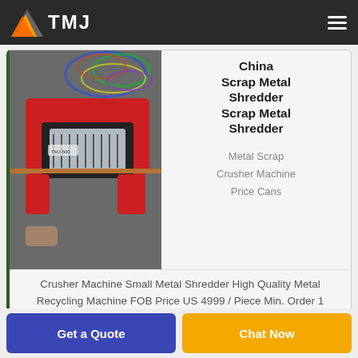TMJ
[Figure (photo): Top-down photo of a red metal scrap shredder machine with wires/cables in the background]
China Scrap Metal Shredder Scrap Metal Shredder
Metal Scrap Crusher Machine Price Cans
Crusher Machine Small Metal Shredder High Quality Metal Recycling Machine FOB Price US 4999 / Piece Min. Order 1 Piece
Get a Quote
Chat Now